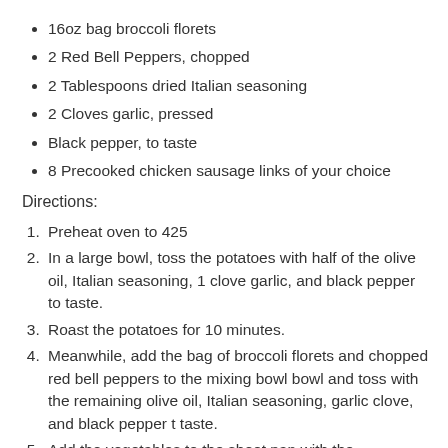16oz bag broccoli florets
2 Red Bell Peppers, chopped
2 Tablespoons dried Italian seasoning
2 Cloves garlic, pressed
Black pepper, to taste
8 Precooked chicken sausage links of your choice
Directions:
Preheat oven to 425
In a large bowl, toss the potatoes with half of the olive oil, Italian seasoning, 1 clove garlic, and black pepper to taste.
Roast the potatoes for 10 minutes.
Meanwhile, add the bag of broccoli florets and chopped red bell peppers to the mixing bowl bowl and toss with the remaining olive oil, Italian seasoning, garlic clove, and black pepper t taste.
Add the vegetables to the sheet pan with the